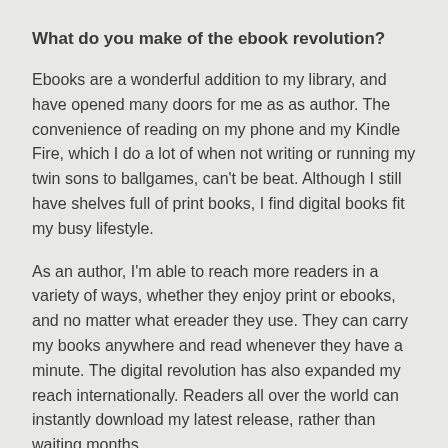What do you make of the ebook revolution?
Ebooks are a wonderful addition to my library, and have opened many doors for me as as author. The convenience of reading on my phone and my Kindle Fire, which I do a lot of when not writing or running my twin sons to ballgames, can't be beat. Although I still have shelves full of print books, I find digital books fit my busy lifestyle.
As an author, I'm able to reach more readers in a variety of ways, whether they enjoy print or ebooks, and no matter what ereader they use. They can carry my books anywhere and read whenever they have a minute. The digital revolution has also expanded my reach internationally. Readers all over the world can instantly download my latest release, rather than waiting months